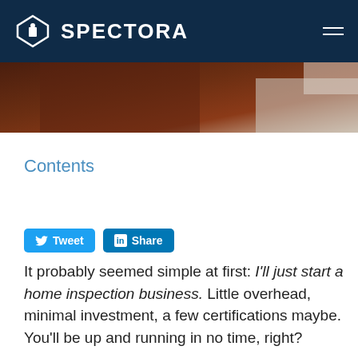SPECTORA
[Figure (photo): Partial view of a dark brown wooden surface, close-up hero image at top of article]
Contents
Tweet  Share
It probably seemed simple at first: I'll just start a home inspection business. Little overhead, minimal investment, a few certifications maybe. You'll be up and running in no time, right?